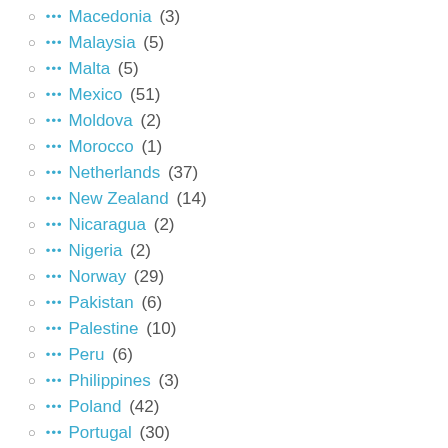Macedonia (3)
Malaysia (5)
Malta (5)
Mexico (51)
Moldova (2)
Morocco (1)
Netherlands (37)
New Zealand (14)
Nicaragua (2)
Nigeria (2)
Norway (29)
Pakistan (6)
Palestine (10)
Peru (6)
Philippines (3)
Poland (42)
Portugal (30)